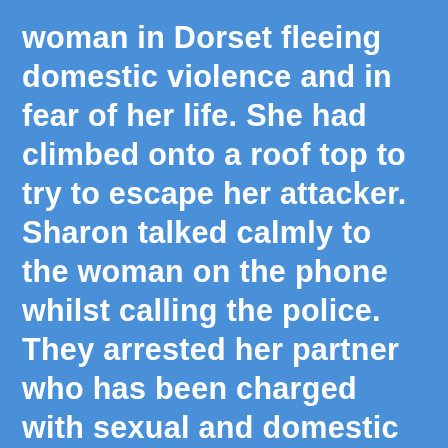woman in Dorset fleeing domestic violence and in fear of her life. She had climbed onto a roof top to try to escape her attacker. Sharon talked calmly to the woman on the phone whilst calling the police. They arrested her partner who has been charged with sexual and domestic abuse. An hour later Amy received a phone call from a service user in Hampshire who was threatening suicide. He hung up but she was able to reach him by text and notify